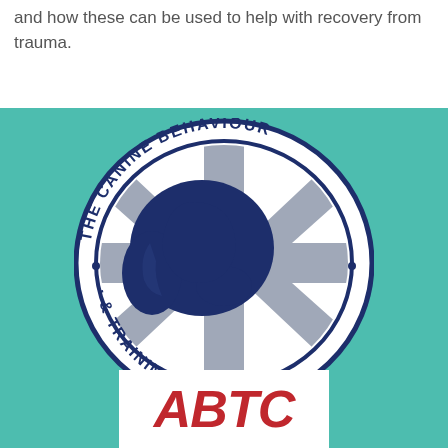and how these can be used to help with recovery from trauma.
[Figure (logo): The Canine Behaviour & Training Society circular logo featuring a dog silhouette overlaid on a Union Jack flag, with text around the border reading 'THE CANINE BEHAVIOUR & TRAINING SOCIETY']
[Figure (logo): ABTC logo in bold red italic letters on a white background]